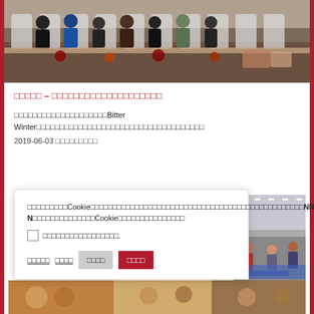[Figure (photo): Women in hijabs seated at long tables eating food at a communal meal event]
□□□□□ – □□□□□□□□□□□□□□□□□□□□
□□□□□□□□□□□□□□□□□□□□Bitter Winter□□□□□□□□□□□□□□□□□□□□□□□□□□□□□
2019-06-03 □□□□□□□□□
□□□□□□□□□Cookie□□□□□□□□□□□□□□□□□□□□□□□□□□□□□□□□□□□□□□□□□□□□□□□□NNN N□□□□□□□□□□□□□□Cookie□□□□□□□□□□□□□□□
□□□□□□□□□□□□□□□□□.
□□□□□   □□□□   □□□□   □□□□
[Figure (photo): Workers in a factory setting, sewing or manufacturing]
[Figure (photo): People in colorful clothing at the bottom strip]